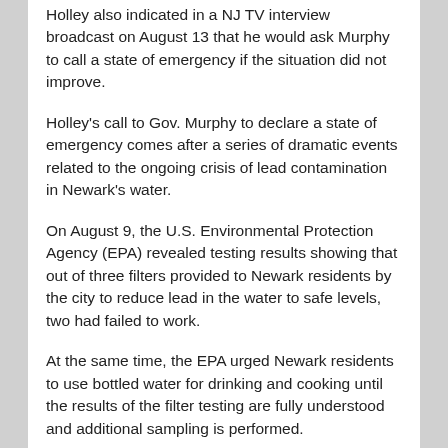Holley also indicated in a NJ TV interview broadcast on August 13 that he would ask Murphy to call a state of emergency if the situation did not improve.
Holley's call to Gov. Murphy to declare a state of emergency comes after a series of dramatic events related to the ongoing crisis of lead contamination in Newark's water.
On August 9, the U.S. Environmental Protection Agency (EPA) revealed testing results showing that out of three filters provided to Newark residents by the city to reduce lead in the water to safe levels, two had failed to work.
At the same time, the EPA urged Newark residents to use bottled water for drinking and cooking until the results of the filter testing are fully understood and additional sampling is performed.
Meanwhile, bottled water distribution began last week at several locations throughout the city, but only for Newark residents of the western half of the city who are